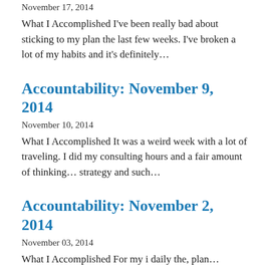November 17, 2014
What I Accomplished I've been really bad about sticking to my plan the last few weeks. I've broken a lot of my habits and it's definitely…
Accountability: November 9, 2014
November 10, 2014
What I Accomplished It was a weird week with a lot of traveling. I did my consulting hours and a fair amount of thinking… strategy and such…
Accountability: November 2, 2014
November 03, 2014
What I Accomplished For my i daily the, plan…